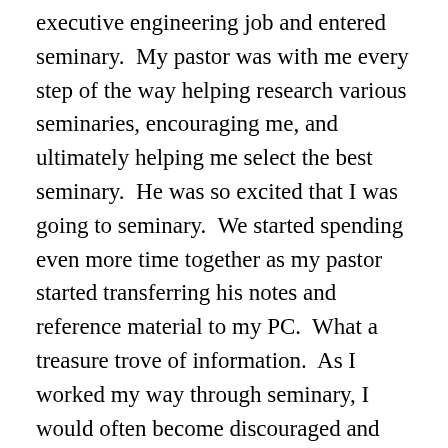executive engineering job and entered seminary.  My pastor was with me every step of the way helping research various seminaries, encouraging me, and ultimately helping me select the best seminary.  He was so excited that I was going to seminary.  We started spending even more time together as my pastor started transferring his notes and reference material to my PC.  What a treasure trove of information.  As I worked my way through seminary, I would often become discouraged and question my calling to ministry. My pastor always seemed to be there when I needed him the most.  His encouraging words meant the world to me.  He would often call me up just to tell me that he loved me.  My